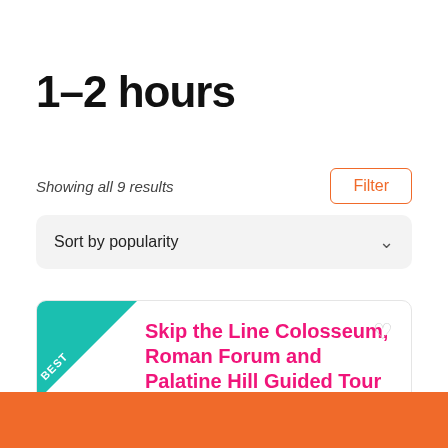1–2 hours
Showing all 9 results
Filter
Sort by popularity
Skip the Line Colosseum, Roman Forum and Palatine Hill Guided Tour